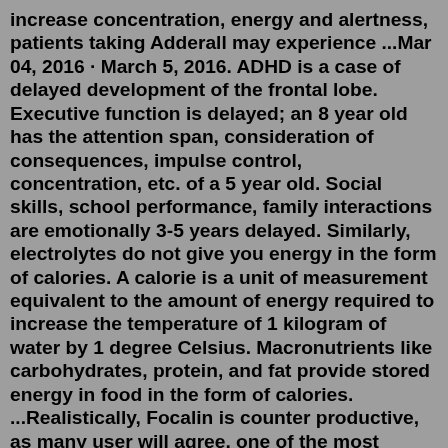increase concentration, energy and alertness, patients taking Adderall may experience ...Mar 04, 2016 · March 5, 2016. ADHD is a case of delayed development of the frontal lobe. Executive function is delayed; an 8 year old has the attention span, consideration of consequences, impulse control, concentration, etc. of a 5 year old. Social skills, school performance, family interactions are emotionally 3-5 years delayed. Similarly, electrolytes do not give you energy in the form of calories. A calorie is a unit of measurement equivalent to the amount of energy required to increase the temperature of 1 kilogram of water by 1 degree Celsius. Macronutrients like carbohydrates, protein, and fat provide stored energy in food in the form of calories. ...Realistically, Focalin is counter productive, as many user will agree, one of the most significant side effects of Focalin is the loss of appetite. When you stop taking the OPINION of the...Focalin, the brand name of dexmethylphenidate, is a central nervous system (CNS) stimulant used to increase attention, alertness and energy. It is FDA